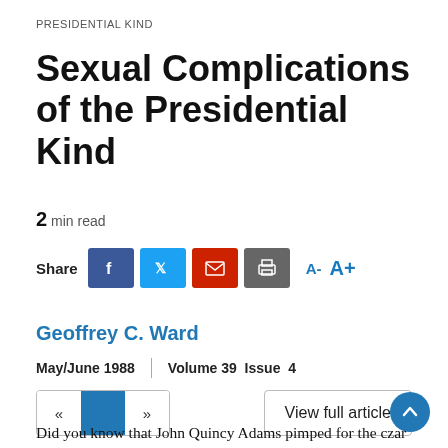PRESIDENTIAL KIND
Sexual Complications of the Presidential Kind
2 min read
[Figure (infographic): Share buttons: Facebook (blue), Twitter (light blue), Email (red), Print (gray), and font size controls A- A+ in blue]
Geoffrey C. Ward
May/June 1988  |  Volume 39  Issue 4
[Figure (infographic): Navigation pagination with previous and next arrows and a blue center block, and a View full article button with blue circle up arrow]
Did you know that John Quincy Adams pimped for the czar